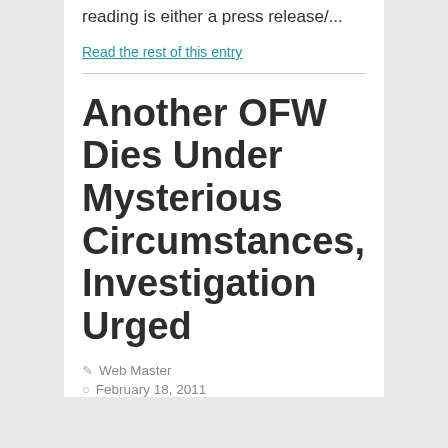reading is either a press release/...
Read the rest of this entry
Another OFW Dies Under Mysterious Circumstances, Investigation Urged
Web Master
February 18, 2011